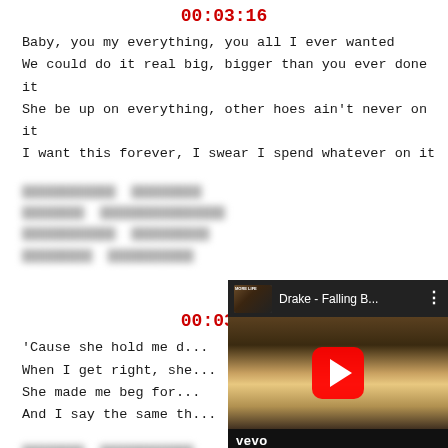00:03:16
Baby, you my everything, you all I ever wanted
We could do it real big, bigger than you ever done it
She be up on everything, other hoes ain’t never on it
I want this forever, I swear I spend whatever on it
[blurred/censored text lines]
00:03:38
‘Cause she hold me d...
When I get right, she...
She made me beg for...
And I say the same th...
[blurred/censored text lines]
[Figure (screenshot): YouTube video player overlay showing Drake - Falling B... with vevo branding and red play button]